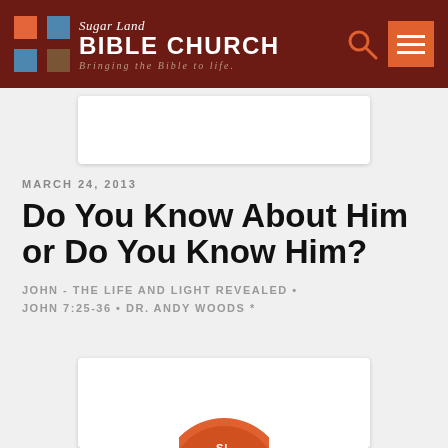Sugar Land BIBLE CHURCH — Bringing the Bible to life.
MARCH 24, 2013
Do You Know About Him or Do You Know Him?
JOHN - THE LIFE AND LIGHT REVEALED • JOHN 7:25-36 • DR. ANDY WOODS *
[Figure (other): Partially visible circular church logo/media player graphic at bottom of page]